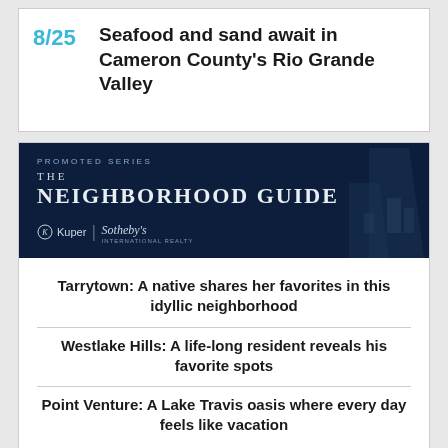8/25 Seafood and sand await in Cameron County's Rio Grande Valley
[Figure (illustration): Promoted series banner for 'The Neighborhood Guide' by Kuper Sotheby's International Realty, dark navy background with architectural silhouette]
Tarrytown: A native shares her favorites in this idyllic neighborhood
Westlake Hills: A life-long resident reveals his favorite spots
Point Venture: A Lake Travis oasis where every day feels like vacation
[Figure (photo): Partial photo visible at bottom of page, two-tone split image]